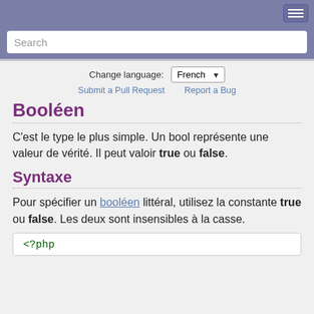Search
Change language: French
Submit a Pull Request   Report a Bug
Booléen
C'est le type le plus simple. Un bool représente une valeur de vérité. Il peut valoir true ou false.
Syntaxe
Pour spécifier un booléen littéral, utilisez la constante true ou false. Les deux sont insensibles à la casse.
<?php